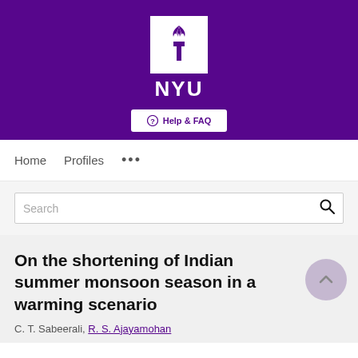[Figure (logo): NYU (New York University) logo on purple banner background with torch icon in white box, NYU text below, and Help & FAQ button]
Home   Profiles   ...
Search
On the shortening of Indian summer monsoon season in a warming scenario
C. T. Sabeerali, R. S. Ajayamohan